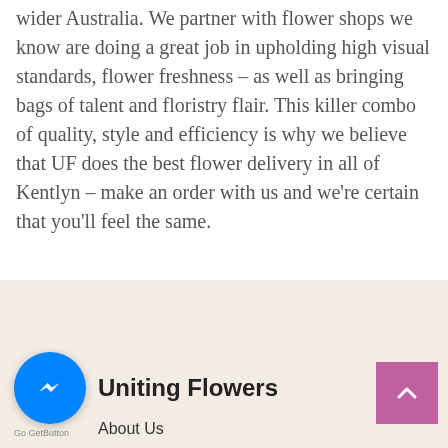wider Australia. We partner with flower shops we know are doing a great job in upholding high visual standards, flower freshness – as well as bringing bags of talent and floristry flair. This killer combo of quality, style and efficiency is why we believe that UF does the best flower delivery in all of Kentlyn – make an order with us and we're certain that you'll feel the same.
[Figure (logo): Facebook Messenger icon in blue circle]
Uniting Flowers
About Us
Go GetButton